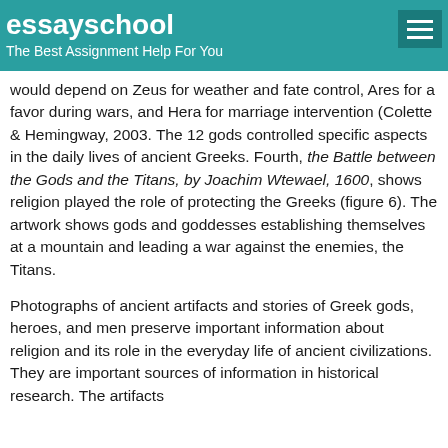essayschool
The Best Assignment Help For You
would depend on Zeus for weather and fate control, Ares for a favor during wars, and Hera for marriage intervention (Colette & Hemingway, 2003. The 12 gods controlled specific aspects in the daily lives of ancient Greeks. Fourth, the Battle between the Gods and the Titans, by Joachim Wtewael, 1600, shows religion played the role of protecting the Greeks (figure 6). The artwork shows gods and goddesses establishing themselves at a mountain and leading a war against the enemies, the Titans.
Photographs of ancient artifacts and stories of Greek gods, heroes, and men preserve important information about religion and its role in the everyday life of ancient civilizations. They are important sources of information in historical research. The artifacts